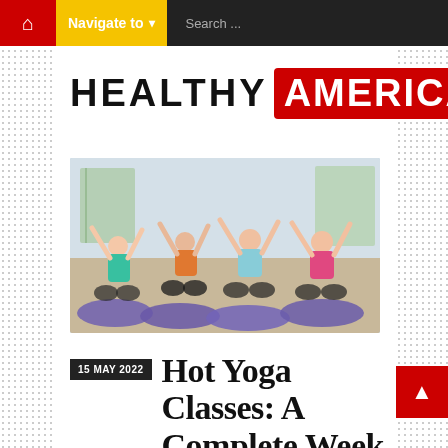Navigate to | Search ...
HEALTHY AMERICA
[Figure (photo): Four women in yoga/fitness attire sitting cross-legged on purple yoga mats in a studio, arms raised in a yoga pose]
15 MAY 2022  Hot Yoga Classes: A Complete Week Of Fi...